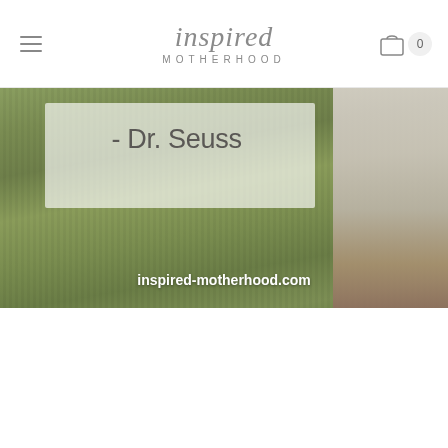inspired MOTHERHOOD
[Figure (photo): Website screenshot banner for inspired-motherhood.com showing a Dr. Seuss quote overlay on a grassy background with a person visible on the right side. Text reads '- Dr. Seuss' and 'inspired-motherhood.com']